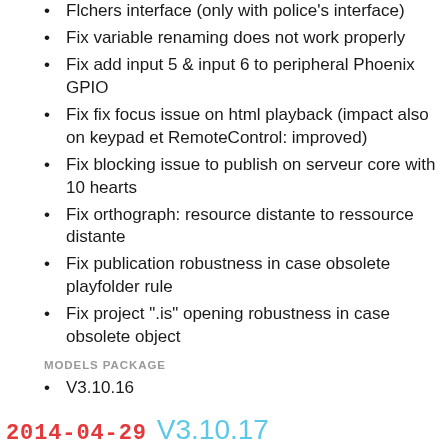Flchers interface (only with police's interface)
Fix variable renaming does not work properly
Fix add input 5 & input 6 to peripheral Phoenix GPIO
Fix fix focus issue on html playback (impact also on keypad et RemoteControl: improved)
Fix blocking issue to publish on serveur core with 10 hearts
Fix orthograph: resource distante to ressource distante
Fix publication robustness in case obsolete playfolder rule
Fix project ".is" opening robustness in case obsolete object
MODELS PACKAGE
V3.10.16
2014-04-29  V3.10.17
BUG FIX, NEW FEATURES, MINOR UPDATES
Change embeds Playzilla V3.10.41_beta1
Fix .pptx file corrupted after changing the slides'